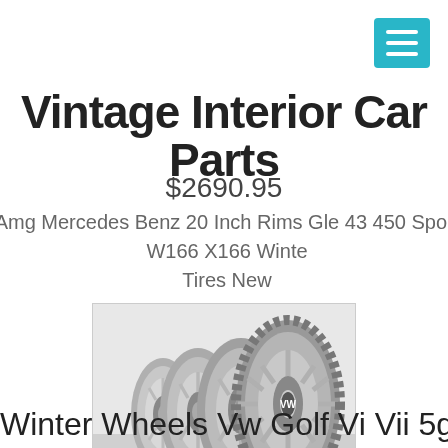Vintage Interior Car Parts
$2690.95
Amg Mercedes Benz 20 Inch Rims Gle 43 450 Sport W166 X166 Winter Tires New
[Figure (photo): Four silver alloy wheels with winter tires leaning against each other, showing VW logo on the front wheel]
Winter Wheels Vw Golf Vi Vii 5g Rims 17